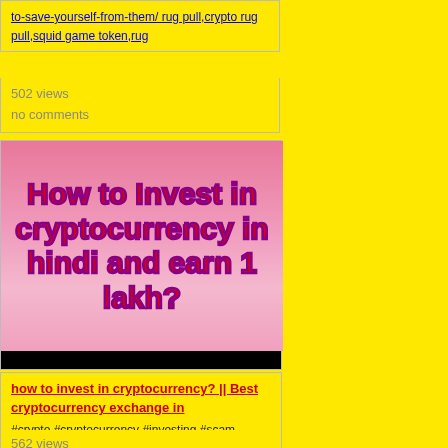to-save-yourself-from-them/ rug pull,crypto rug pull,squid game token,rug
502 views
no comments
[Figure (screenshot): Video thumbnail with pink gradient background and black borders, showing bold red text outlined in purple: 'How to Invest in cryptocurrency in hindi and earn 1 lakh?']
how to invest in cryptocurrency? || Best cryptocurrency exchange in
#crypto #cryptocurrency #investing #scam #dogecoin #shibainu #sanshuinu #cryptoexchange #firstvideo #CryptoWithKshitiz ————————————————————————————————- how to invest in cryptocurrency || Best cryptocurrency exchange in india || Avoid crypto scams.
562 views
2 comments